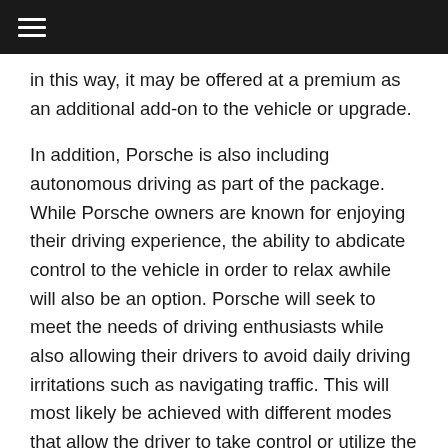≡
in this way, it may be offered at a premium as an additional add-on to the vehicle or upgrade.
In addition, Porsche is also including autonomous driving as part of the package. While Porsche owners are known for enjoying their driving experience, the ability to abdicate control to the vehicle in order to relax awhile will also be an option. Porsche will seek to meet the needs of driving enthusiasts while also allowing their drivers to avoid daily driving irritations such as navigating traffic. This will most likely be achieved with different modes that allow the driver to take control or utilize the vehicles self-driving system. Mission E